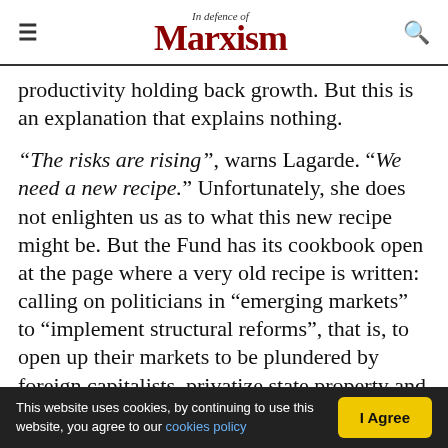In Defence of Marxism
productivity holding back growth. But this is an explanation that explains nothing.
“The risks are rising”, warns Lagarde. “We need a new recipe.” Unfortunately, she does not enlighten us as to what this new recipe might be. But the Fund has its cookbook open at the page where a very old recipe is written: calling on politicians in “emerging markets” to “implement structural reforms”, that is, to open up their markets to be plundered by foreign capitalists, privatize state property and make labour markets more “flexible”:
This website uses cookies, by continuing to use this website, you agree to our cookies policy | I Agree